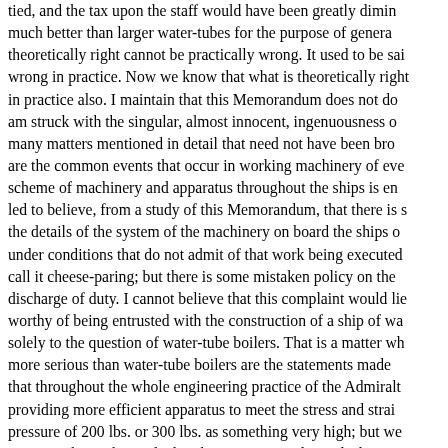tied, and the tax upon the staff would have been greatly dimi... much better than larger water-tubes for the purpose of genera... theoretically right cannot be practically wrong. It used to be sai... wrong in practice. Now we know that what is theoretically right... in practice also. I maintain that this Memorandum does not do... am struck with the singular, almost innocent, ingenuousness o... many matters mentioned in detail that need not have been bro... are the common events that occur in working machinery of eve... scheme of machinery and apparatus throughout the ships is en... led to believe, from a study of this Memorandum, that there is ... the details of the system of the machinery on board the ships o... under conditions that do not admit of that work being executed... call it cheese-paring; but there is some mistaken policy on the... discharge of duty. I cannot believe that this complaint would lie... worthy of being entrusted with the construction of a ship of wa... solely to the question of water-tube boilers. That is a matter wh... more serious than water-tube boilers are the statements made... that throughout the whole engineering practice of the Admiralt... providing more efficient apparatus to meet the stress and strai... pressure of 200 lbs. or 300 lbs. as something very high; but we... provision has to be made that the steam pipes do not leak...